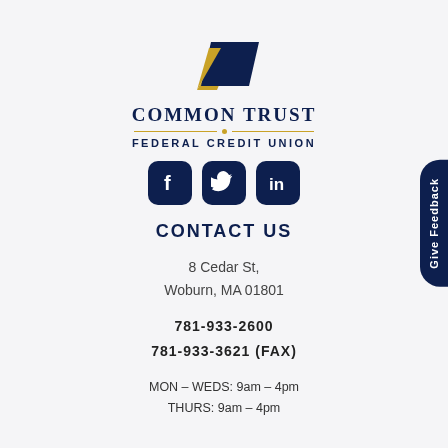[Figure (logo): Common Trust Federal Credit Union logo with gold and navy blue geometric shapes]
COMMON TRUST
FEDERAL CREDIT UNION
[Figure (illustration): Facebook, Twitter, and LinkedIn social media icons in dark navy blue rounded square buttons]
CONTACT US
8 Cedar St,
Woburn, MA 01801
781-933-2600
781-933-3621 (FAX)
MON – WEDS: 9am – 4pm
THURS: 9am – 4pm